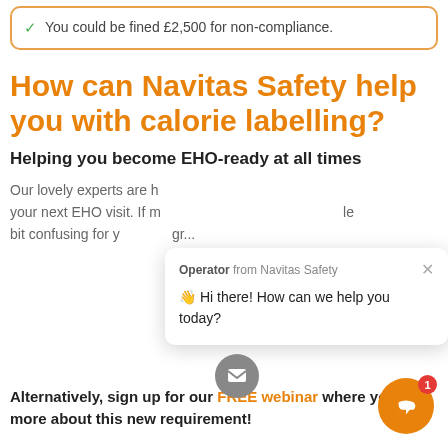You could be fined £2,500 for non-compliance.
How can Navitas Safety help you with calorie labelling?
Helping you become EHO-ready at all times
Our lovely experts are here to help you prepare for your next EHO visit. If managing calorie counts can be a bit confusing for your group...
Alternatively, sign up for our FREE webinar where you can learn more about this new requirement!